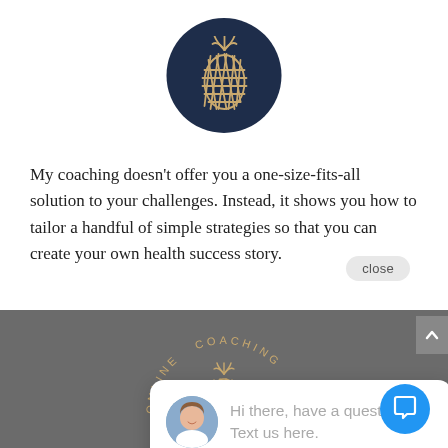[Figure (logo): Dark navy blue circle with a golden/tan pineapple line art logo icon centered within it]
My coaching doesn't offer you a one-size-fits-all solution to your challenges. Instead, it shows you how to tailor a handful of simple strategies so that you can create your own health success story.
close
[Figure (screenshot): Chat popup bubble with a woman's avatar photo and the text 'Hi there, have a question? Text us here.']
[Figure (logo): Bottom gray footer area with a circular text reading 'ONLINE COACHING' around a pineapple logo in gold/tan color]
[Figure (other): Blue circular chat icon button with speech bubble icon in bottom right corner]